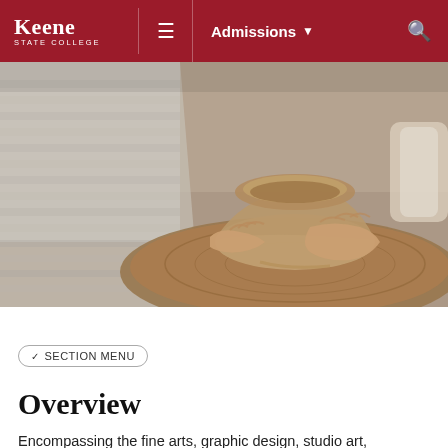Keene STATE COLLEGE | ≡ | Admissions ▼ | 🔍
[Figure (photo): Close-up photo of hands shaping clay on a pottery wheel, student wearing a striped shirt, beige/tan clay tones, shallow depth of field]
Art & Design
✓ SECTION MENU
Overview
Encompassing the fine arts, graphic design, studio art, and art history, The wide-ranging art and design programs